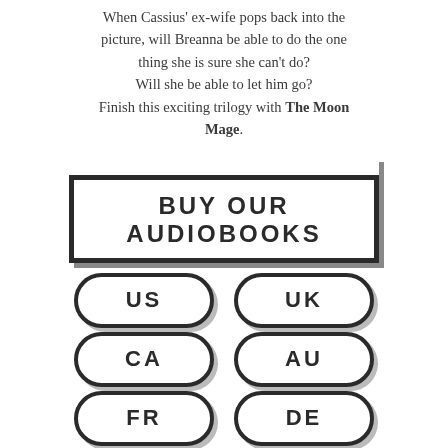When Cassius' ex-wife pops back into the picture, will Breanna be able to do the one thing she is sure she can't do? Will she be able to let him go? Finish this exciting trilogy with The Moon Mage.
[Figure (infographic): A rectangular button labeled BUY OUR AUDIOBOOKS with thick border, followed by six rounded pill-shaped buttons arranged in a 2x3 grid labeled US, UK, CA, AU, FR, DE]